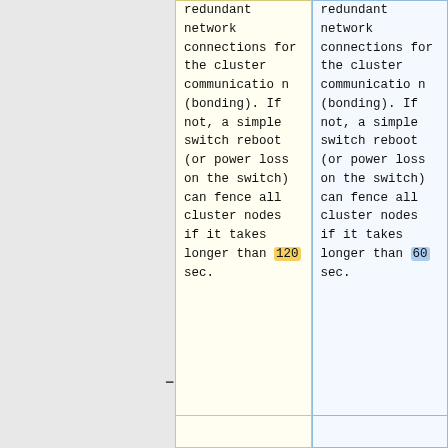redundant network connections for the cluster communication (bonding). If not, a simple switch reboot (or power loss on the switch) can fence all cluster nodes if it takes longer than 120 sec.
redundant network connections for the cluster communication (bonding). If not, a simple switch reboot (or power loss on the switch) can fence all cluster nodes if it takes longer than 60 sec.